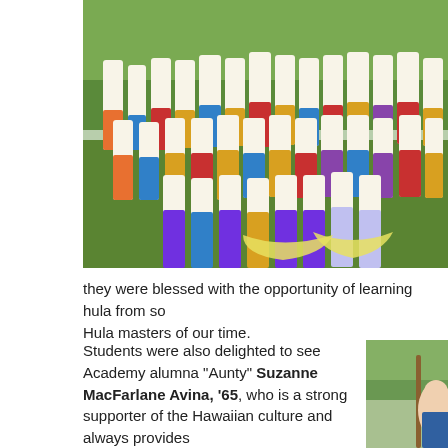[Figure (photo): Group photo of hula dancers in white t-shirts and colorful skirts, holding flower leis, posing outdoors on grass with palm trees in background.]
they were blessed with the opportunity of learning hula from so Hula masters of our time.
Students were also delighted to see Academy alumna "Aunty" Suzanne MacFarlane Avina, '65, who is a strong supporter of the Hawaiian culture and always provides delicious malasadas for everyone to
[Figure (photo): Two women standing outdoors with palm trees in background.]